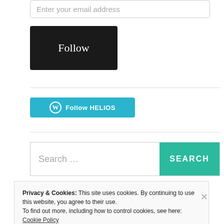Enter your email address
Follow
[Figure (other): WordPress Follow HELIOS button in teal/cyan color]
Search ...
Privacy & Cookies: This site uses cookies. By continuing to use this website, you agree to their use.
To find out more, including how to control cookies, see here:
Cookie Policy
Close and accept